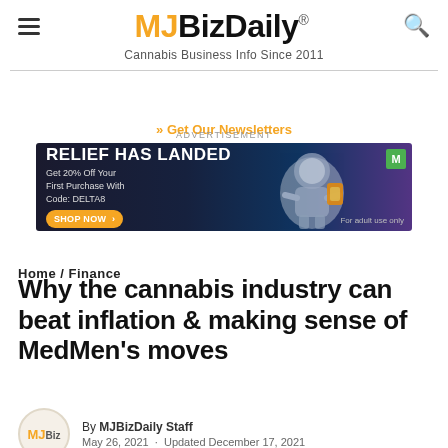MJBizDaily® — Cannabis Business Info Since 2011
» Get Our Newsletters
[Figure (other): Advertisement banner: RELIEF HAS LANDED. Get 20% Off Your First Purchase With Code: DELTA8. SHOP NOW button. For adult use only. Space-themed imagery with astronaut.]
Home / Finance
Why the cannabis industry can beat inflation & making sense of MedMen's moves
By MJBizDaily Staff
May 26, 2021 · Updated December 17, 2021